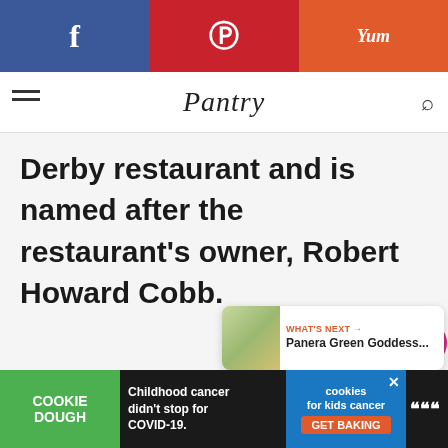f  p  Yum
Pantry
Derby restaurant and is named after the restaurant's owner, Robert Howard Cobb.
[Figure (infographic): Heart/like button with count 208 and share button on right side]
[Figure (infographic): WHAT'S NEXT card with thumbnail and text: Panera Green Goddess...]
[Figure (infographic): Advertisement banner: Cookie Dough - Childhood cancer didn't stop for COVID-19. Cookies for kids cancer GET BAKING]